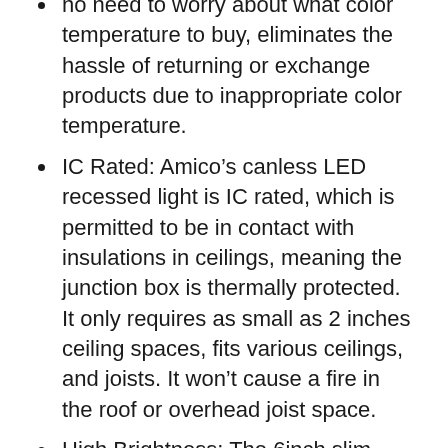no need to worry about what color temperature to buy, eliminates the hassle of returning or exchange products due to inappropriate color temperature.
IC Rated: Amico’s canless LED recessed light is IC rated, which is permitted to be in contact with insulations in ceilings, meaning the junction box is thermally protected. It only requires as small as 2 inches ceiling spaces, fits various ceilings, and joists. It won’t cause a fire in the roof or overhead joist space.
High Brightness: The 6inch slim downlights use the world’s leading LED chips with higher lumens and lower power. 1050LM consumes 12 Watts,